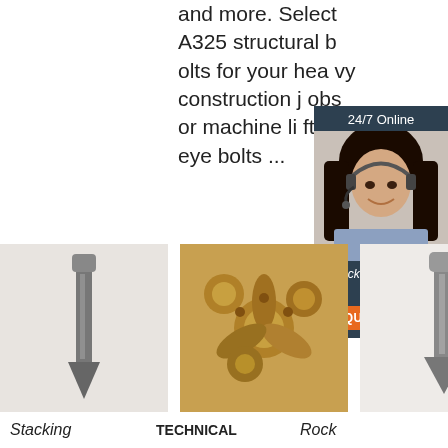and more. Select A325 structural bolts for your heavy construction jobs or machine lifting eye bolts ...
Get Price
24/7 Online
[Figure (photo): Customer service woman with headset smiling]
Click here for free chat !
QUOTATION
[Figure (photo): Metal stacking pin / construction fastener]
[Figure (photo): Group of gold-colored drill bits]
[Figure (photo): Metal stacking pin with TOP logo overlay]
Stacking
TECHNICAL
Rock